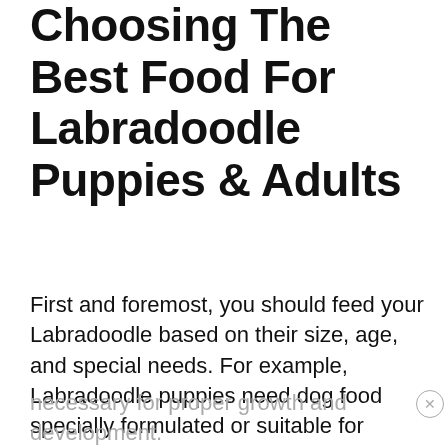Choosing The Best Food For Labradoodle Puppies & Adults
First and foremost, you should feed your Labradoodle based on their size, age, and special needs. For example, Labradoodle puppies need dog food specially formulated or suitable for puppies. The best food for Labradoodle puppy has more calories and protein, and contains vital nutrients that are necessary for proper growth and development.